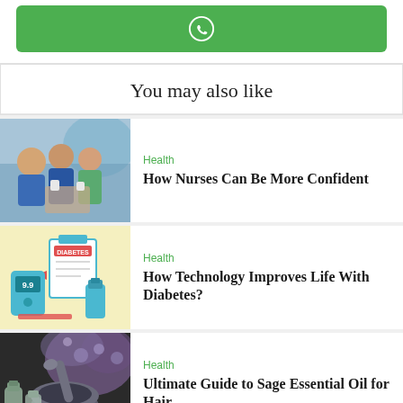[Figure (other): Green WhatsApp share button with WhatsApp logo icon]
You may also like
[Figure (photo): Nurses with elderly patient, healthcare scene]
Health
How Nurses Can Be More Confident
[Figure (illustration): Diabetes technology illustration with clipboard, glucose meter and medication]
Health
How Technology Improves Life With Diabetes?
[Figure (photo): Sage essential oil with mortar and pestle and lavender flowers]
Health
Ultimate Guide to Sage Essential Oil for Hair
[Figure (photo): Partial view of fourth article thumbnail]
Health